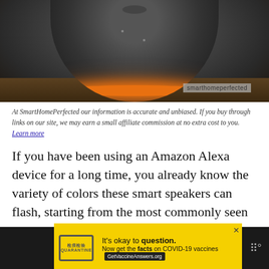[Figure (photo): Top-down view of an Amazon Echo dot smart speaker with an orange ring light, on a wooden table surface. Watermark reads 'smarthomeperfected' in bottom right.]
At SmartHomePerfected our information is accurate and unbiased. If you buy through links on our site, we may earn a small affiliate commission at no extra cost to you. Learn more
If you have been using an Amazon Alexa device for a long time, you already know the variety of colors these smart speakers can flash, starting from the most commonly seen blue and green rings. The orange ring is one that is not seen very often.
On this page
[Figure (screenshot): Advertisement banner: yellow background with 'It's okay to question. Now get the facts on COVID-19 vaccines GetVaccineAnswers.org'. Dark sections on left and right.]